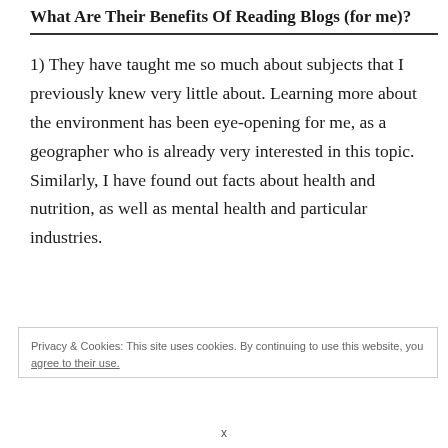What Are Their Benefits Of Reading Blogs (for me)?
1) They have taught me so much about subjects that I previously knew very little about. Learning more about the environment has been eye-opening for me, as a geographer who is already very interested in this topic. Similarly, I have found out facts about health and nutrition, as well as mental health and particular industries.
Privacy & Cookies: This site uses cookies. By continuing to use this website, you agree to their use.
x